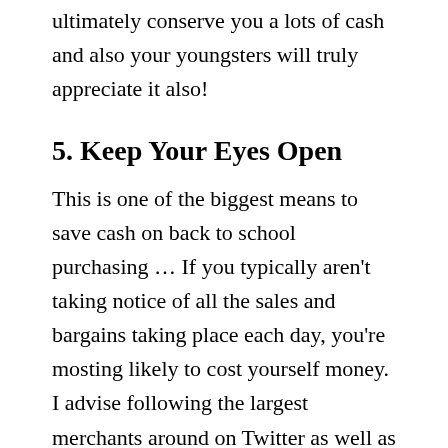ultimately conserve you a lots of cash and also your youngsters will truly appreciate it also!
5. Keep Your Eyes Open
This is one of the biggest means to save cash on back to school purchasing … If you typically aren't taking notice of all the sales and bargains taking place each day, you're mosting likely to cost yourself money. I advise following the largest merchants around on Twitter as well as Facebook to ensure that you never miss out on when they introduce their most current bargains! Also don't forget about scanning the mail